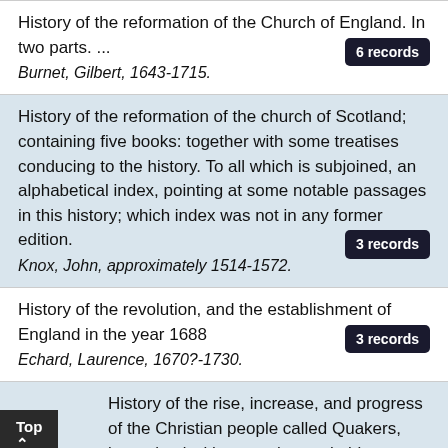History of the reformation of the Church of England. In two parts. ... 6 records
Burnet, Gilbert, 1643-1715.
History of the reformation of the church of Scotland; containing five books: together with some treatises conducing to the history. To all which is subjoined, an alphabetical index, pointing at some notable passages in this history; which index was not in any former edition. 3 records
Knox, John, approximately 1514-1572.
History of the revolution, and the establishment of England in the year 1688 3 records
Echard, Laurence, 1670?-1730.
History of the rise, increase, and progress of the Christian people called Quakers, intermixed with several remarkable occurrences. Written originally in...